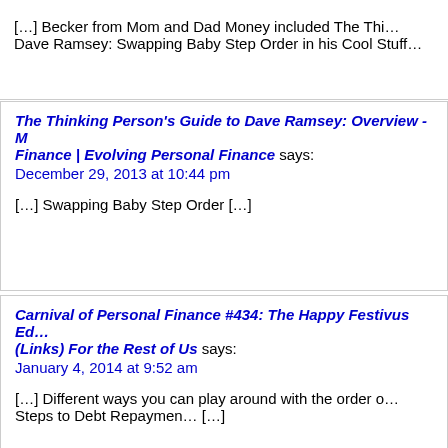[…] Becker from Mom and Dad Money included The Thi… Dave Ramsey: Swapping Baby Step Order in his Cool Stuff…
The Thinking Person's Guide to Dave Ramsey: Overview - … Finance | Evolving Personal Finance says: December 29, 2013 at 10:44 pm
[…] Swapping Baby Step Order […]
Carnival of Personal Finance #434: The Happy Festivus Ed… (Links) For the Rest of Us says: January 4, 2014 at 9:52 am
[…] Different ways you can play around with the order o… Steps to Debt Repaymen… […]
The Thinking Person's Guide to Dave Ramsey: Realistic We… Personal Finance | Evolving Personal Finance says: January 20, 2014 at 5:58…